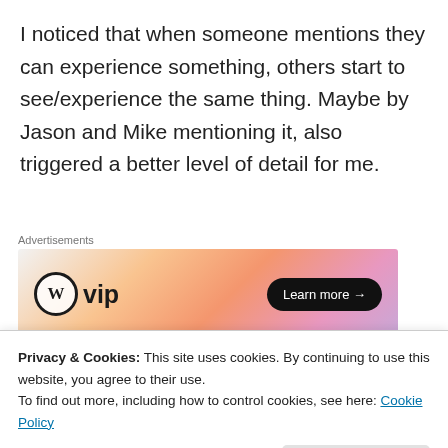I noticed that when someone mentions they can experience something, others start to see/experience the same thing. Maybe by Jason and Mike mentioning it, also triggered a better level of detail for me.
[Figure (other): WordPress VIP advertisement banner with gradient background (peach to purple) showing WP circle logo, 'vip' text, and 'Learn more →' button]
Privacy & Cookies: This site uses cookies. By continuing to use this website, you agree to their use.
To find out more, including how to control cookies, see here: Cookie Policy
Close and accept